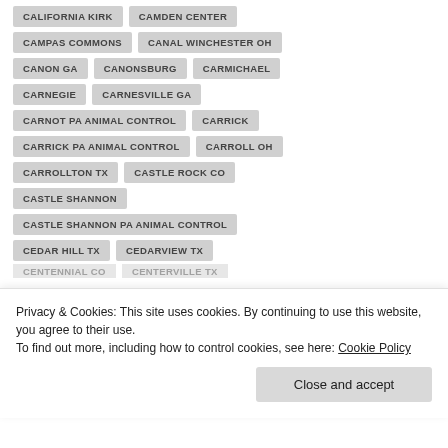CALIFORNIA KIRK
CAMDEN CENTER
CAMPAS COMMONS
CANAL WINCHESTER OH
CANON GA
CANONSBURG
CARMICHAEL
CARNEGIE
CARNESVILLE GA
CARNOT PA ANIMAL CONTROL
CARRICK
CARRICK PA ANIMAL CONTROL
CARROLL OH
CARROLLTON TX
CASTLE ROCK CO
CASTLE SHANNON
CASTLE SHANNON PA ANIMAL CONTROL
CEDAR HILL TX
CEDARVIEW TX
Privacy & Cookies: This site uses cookies. By continuing to use this website, you agree to their use.
To find out more, including how to control cookies, see here: Cookie Policy
Close and accept